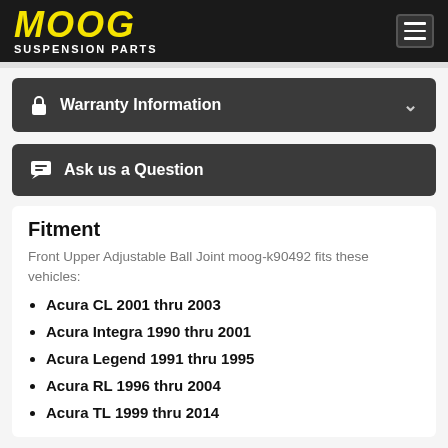MOOG SUSPENSION PARTS
Warranty Information
Ask us a Question
Fitment
Front Upper Adjustable Ball Joint moog-k90492 fits these vehicles:
Acura CL 2001 thru 2003
Acura Integra 1990 thru 2001
Acura Legend 1991 thru 1995
Acura RL 1996 thru 2004
Acura TL 1999 thru 2014